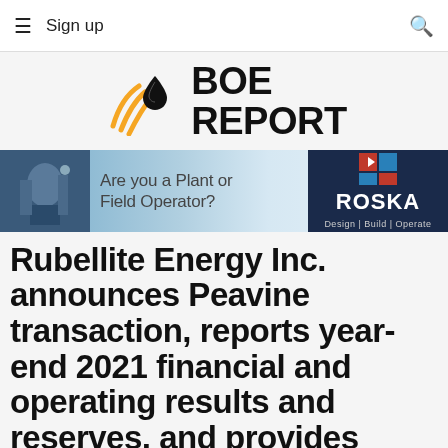≡  Sign up
[Figure (logo): BOE Report logo with oil drop icon and orange signal/wifi arcs]
[Figure (photo): Advertisement banner: Are you a Plant or Field Operator? Roska Design Build Operate]
Rubellite Energy Inc. announces Peavine transaction, reports year-end 2021 financial and operating results and reserves, and provides operations update